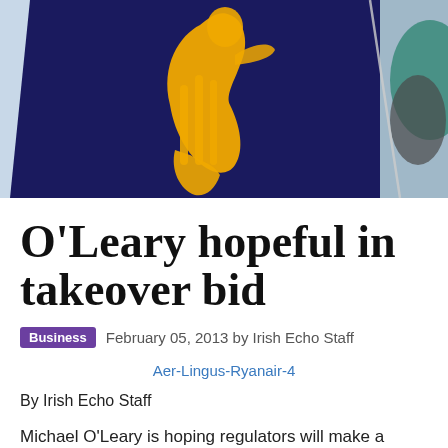[Figure (photo): Close-up photo of a Ryanair aircraft tail fin showing the yellow harp logo on dark navy blue background, with another aircraft partially visible behind it.]
O'Leary hopeful in takeover bid
Business   February 05, 2013 by Irish Echo Staff
Aer-Lingus-Ryanair-4
By Irish Echo Staff
Michael O'Leary is hoping regulators will make a "positive decision" by the end of February with regard